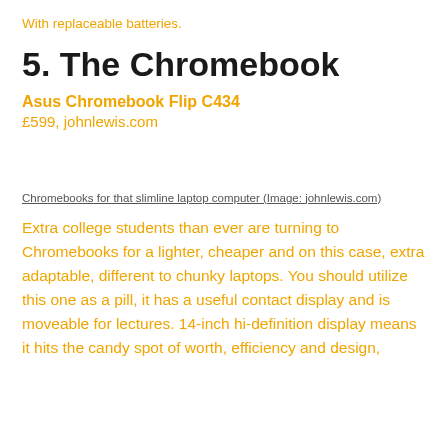With replaceable batteries.
5. The Chromebook
Asus Chromebook Flip C434
£599, johnlewis.com
Chromebooks for that slimline laptop computer (Image: johnlewis.com)
Extra college students than ever are turning to Chromebooks for a lighter, cheaper and on this case, extra adaptable, different to chunky laptops. You should utilize this one as a pill, it has a useful contact display and is moveable for lectures. 14-inch hi-definition display means it hits the candy spot of worth, efficiency and design,